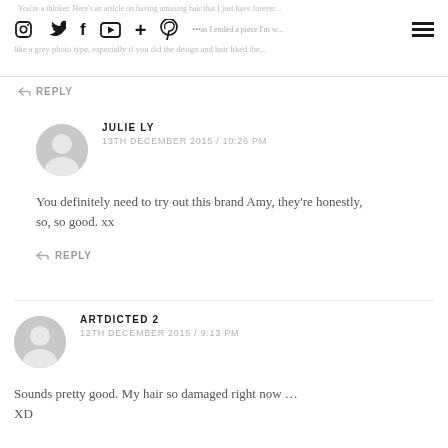Nav bar with social icons and menu
↩ REPLY
JULIE LY
13TH DECEMBER 2015 / 10:26 PM
You definitely need to try out this brand Amy, they're honestly, so, so good. xx
↩ REPLY
ARTDICTED 2
12TH DECEMBER 2015 / 9:13 PM
Sounds pretty good. My hair so damaged right now …
XD